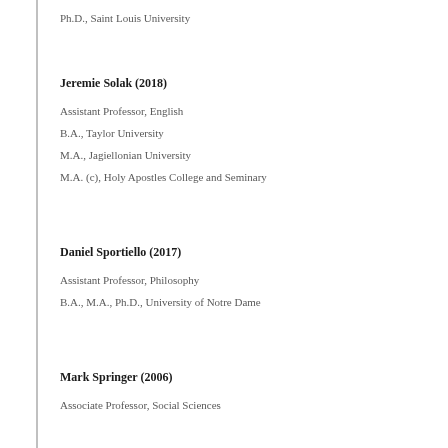Ph.D., Saint Louis University
Jeremie Solak (2018)
Assistant Professor, English
B.A., Taylor University
M.A., Jagiellonian University
M.A. (c), Holy Apostles College and Seminary
Daniel Sportiello (2017)
Assistant Professor, Philosophy
B.A., M.A., Ph.D., University of Notre Dame
Mark Springer (2006)
Associate Professor, Social Sciences